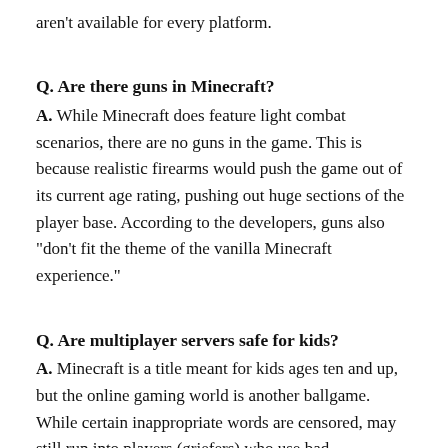aren't available for every platform.
Q. Are there guns in Minecraft?
A. While Minecraft does feature light combat scenarios, there are no guns in the game. This is because realistic firearms would push the game out of its current age rating, pushing out huge sections of the player base. According to the developers, guns also “don’t fit the theme of the vanilla Minecraft experience.”
Q. Are multiplayer servers safe for kids?
A. Minecraft is a title meant for kids ages ten and up, but the online gaming world is another ballgame. While certain inappropriate words are censored, may still run into players (griefers) who use bad